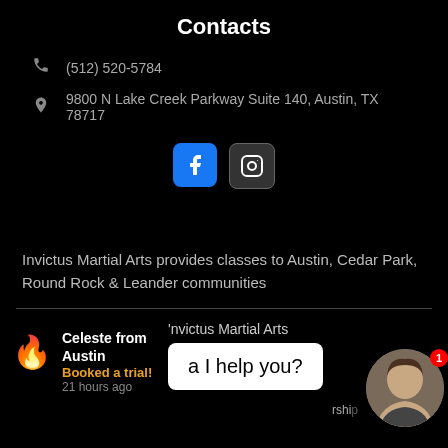Contacts
(512) 520-5784
9800 N Lake Creek Parkway Suite 140, Austin, TX 78717
[Figure (screenshot): Facebook and Instagram social media icon buttons]
Invictus Martial Arts provides classes to Austin, Cedar Park, Round Rock & Leander communities
[Figure (screenshot): Notification widget showing Celeste from Austin Booked a trial 21 hours ago, with chat bubble saying 'a I help you?' and Invictus Martial Arts chat header with avatar photo]